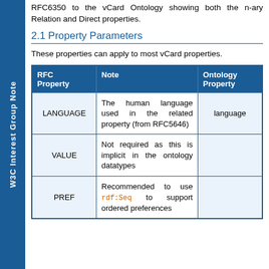W3C Interest Group Note
RFC6350 to the vCard Ontology showing both the n-ary Relation and Direct properties.
2.1 Property Parameters
These properties can apply to most vCard properties.
| RFC Property | Note | Ontology Property |
| --- | --- | --- |
| LANGUAGE | The human language used in the related property (from RFC5646) | language |
| VALUE | Not required as this is implicit in the ontology datatypes |  |
| PREF | Recommended to use rdf:Seq to support ordered preferences |  |